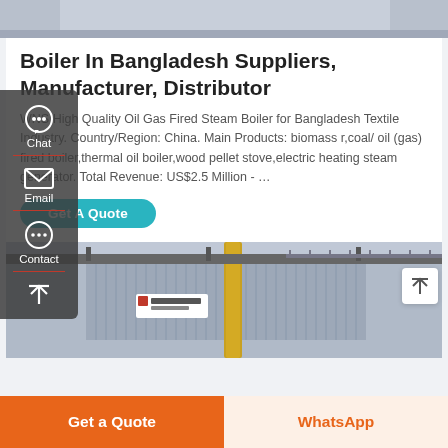[Figure (photo): Top portion of industrial boiler equipment image, partially visible]
Boiler In Bangladesh Suppliers, Manufacturer, Distributor
WNS High Quality Oil Gas Fired Steam Boiler for Bangladesh Textile Industry. Country/Region: China. Main Products: biomass r,coal/ oil (gas) fired boiler,thermal oil boiler,wood pellet stove,electric heating steam generator. Total Revenue: US$2.5 Million - …
[Figure (screenshot): Side panel overlay with Chat, Email, and Contact icons on dark background with red dividers, and a scroll-to-top button]
[Figure (photo): Industrial boiler facility interior showing large metallic boiler units with yellow piping and structural framework]
Get A Quote
Get a Quote
WhatsApp